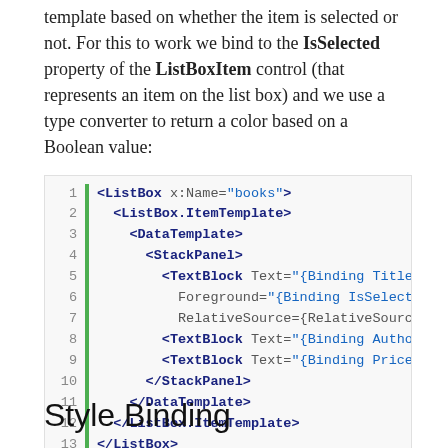template based on whether the item is selected or not. For this to work we bind to the IsSelected property of the ListBoxItem control (that represents an item on the list box) and we use a type converter to return a color based on a Boolean value:
[Figure (screenshot): XML code block showing ListBox with ItemTemplate, DataTemplate, StackPanel, and TextBlock elements, with line numbers 1-13 and a green vertical bar.]
Style Binding